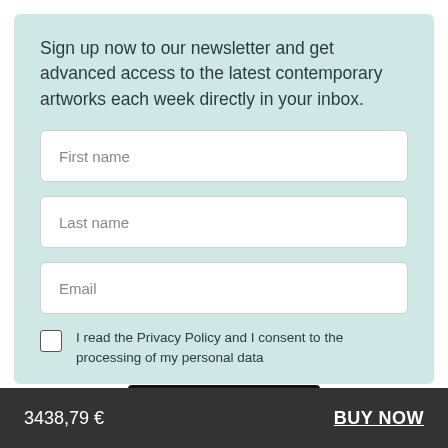Sign up now to our newsletter and get advanced access to the latest contemporary artworks each week directly in your inbox.
First name
Last name
Email
I read the Privacy Policy and I consent to the processing of my personal data
SIGN UP
3438,79 €    BUY NOW